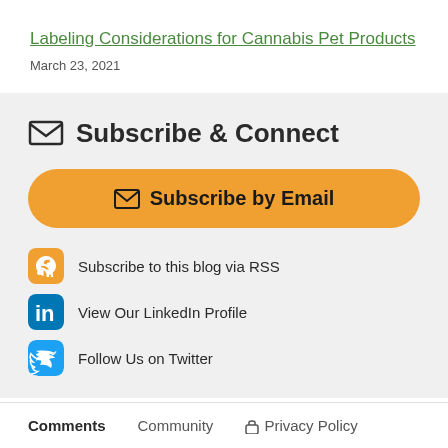Labeling Considerations for Cannabis Pet Products
March 23, 2021
Subscribe & Connect
Subscribe by Email
Subscribe to this blog via RSS
View Our LinkedIn Profile
Follow Us on Twitter
Comments   Community   Privacy Policy